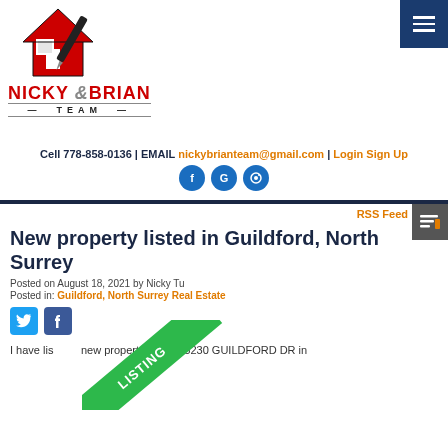[Figure (logo): Nicky & Brian Team real estate logo with stylized house graphic in red, black and white]
NICKY & BRIAN TEAM
Cell 778-858-0136 | EMAIL nickybrianteam@gmail.com | Login Sign Up
[Figure (illustration): Social media icon buttons: Facebook (f), Google (G), Instagram (camera icon) — dark blue circles]
RSS Feed
New property listed in Guildford, North Surrey
Posted on August 18, 2021 by Nicky Tu
Posted in: Guildford, North Surrey Real Estate
[Figure (illustration): Twitter and Facebook share icon buttons]
[Figure (illustration): Green diagonal LISTING ribbon banner overlay on listing image]
I have listed a new property at 14415230 GUILDFORD DR in